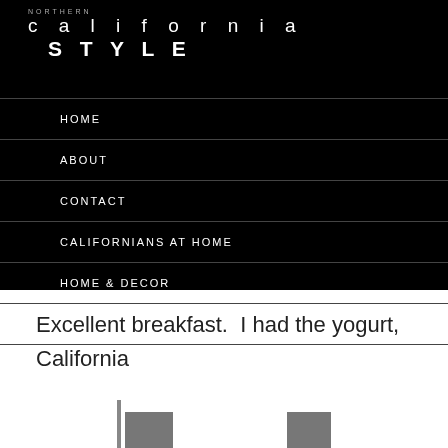NORTHERN california STYLE
HOME
ABOUT
CONTACT
CALIFORNIANS AT HOME
HOME & DECOR
MY CALIFORNIA CLOSET
Excellent breakfast. I had the yogurt, California fruits and granola.
[Figure (photo): Bottom portion of image showing metallic/chrome objects, partially cut off at bottom of page]